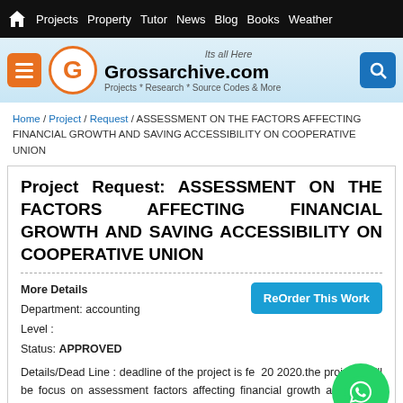Projects  Property  Tutor  News  Blog  Books  Weather
[Figure (logo): Grossarchive.com website header banner with orange logo circle containing letter G, menu button, and search button. Tagline: Projects * Research * Source Codes & More]
Home / Project / Request / ASSESSMENT ON THE FACTORS AFFECTING FINANCIAL GROWTH AND SAVING ACCESSIBILITY ON COOPERATIVE UNION
Project Request: ASSESSMENT ON THE FACTORS AFFECTING FINANCIAL GROWTH AND SAVING ACCESSIBILITY ON COOPERATIVE UNION
More Details
Department: accounting
Level :
Status: APPROVED
Details/Dead Line : deadline of the project is feb 20 2020.the projects will be focus on assessment factors affecting financial growth and saving accessibility of cooperative union in some woreda in ethiopia